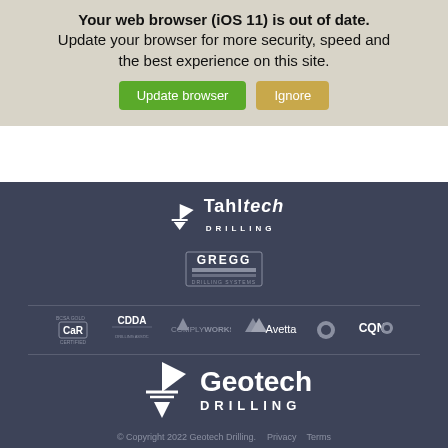Your web browser (iOS 11) is out of date. Update your browser for more security, speed and the best experience on this site.
[Figure (screenshot): Browser update warning banner with 'Update browser' green button and 'Ignore' tan button]
[Figure (logo): Tahltech Drilling logo - downward pointing triangle with company name]
[Figure (logo): GREGG drilling equipment logo]
[Figure (logo): Row of certification logos: CAR Certified, CDDA, ComplyWorks, Avetta, and CQN]
[Figure (logo): Geotech Drilling large white logo with downward triangle]
© Copyright 2022 Geotech Drilling.  Privacy  Terms